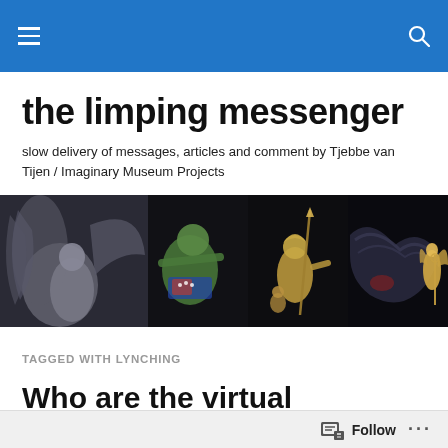Navigation bar with hamburger menu and search icon
the limping messenger
slow delivery of messages, articles and comment by Tjebbe van Tijen / Imaginary Museum Projects
[Figure (illustration): Horizontal banner image on black background showing a collage of mythological and allegorical figures: a winged angel figure on the left, a green creature, armored soldier with spear, child figure, and a winged female figure holding a caduceus on the right.]
TAGGED WITH LYNCHING
Who are the virtual murderers of Stanley Bo